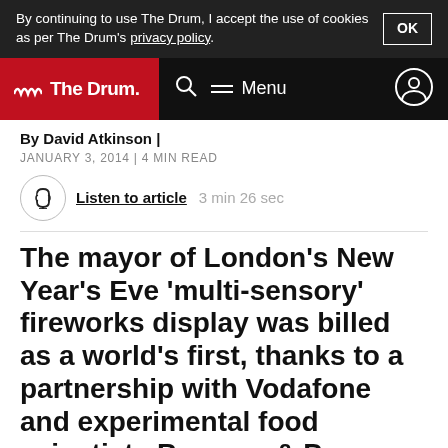By continuing to use The Drum, I accept the use of cookies as per The Drum's privacy policy.
The Drum — Menu
By David Atkinson |
JANUARY 3, 2014 | 4 MIN READ
Listen to article  3 min 26 sec
The mayor of London's New Year's Eve 'multi-sensory' fireworks display was billed as a world's first, thanks to a partnership with Vodafone and experimental food scientists Bompas & Parr. Space managing partner David Atkinson braved the rain to check it